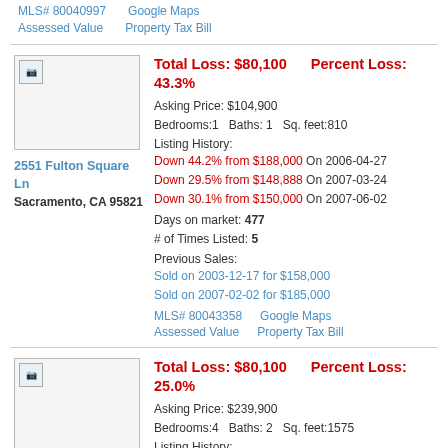MLS# 80040997   Google Maps
Assessed Value   Property Tax Bill
Total Loss: $80,100   Percent Loss: 43.3%
Asking Price: $104,900
Bedrooms:1   Baths: 1   Sq. feet:810
Listing History:
Down 44.2% from $188,000 On 2006-04-27
Down 29.5% from $148,888 On 2007-03-24
Down 30.1% from $150,000 On 2007-06-02
Days on market: 477
# of Times Listed: 5
Previous Sales:
Sold on 2003-12-17 for $158,000
Sold on 2007-02-02 for $185,000
MLS# 80043358   Google Maps
Assessed Value   Property Tax Bill
2551 Fulton Square Ln
Sacramento, CA 95821
Total Loss: $80,100   Percent Loss: 25.0%
Asking Price: $239,900
Bedrooms:4   Baths: 2   Sq. feet:1575
Listing History:
Down 34.7% from $367,500 On 2006-09-02
7916 Claypool Way